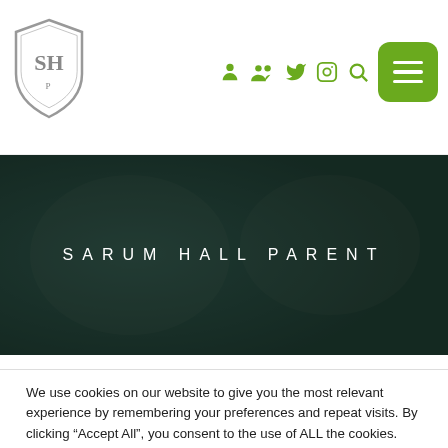[Figure (logo): Sarum Hall school crest/shield logo in grey outline]
[Figure (screenshot): Navigation icons: person, group, Twitter, Instagram, search (all in green), and a green rounded hamburger menu button]
SARUM HALL PARENT
[Figure (photo): Dark teal/green overlaid banner photo showing blurred hands or figures]
We use cookies on our website to give you the most relevant experience by remembering your preferences and repeat visits. By clicking “Accept All”, you consent to the use of ALL the cookies. However, you may visit "Cookie Settings" to provide a controlled consent.
Cookie Settings | Reject All | Accept All